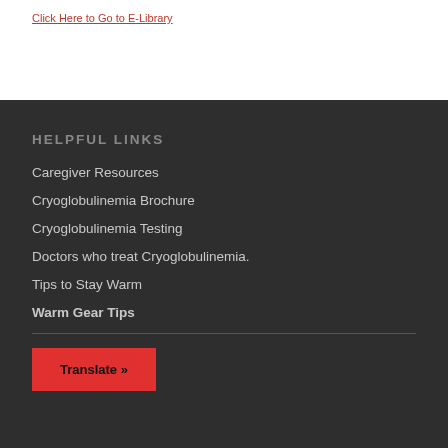Click Here to Go to E-Library
HELPFUL LINKS
Caregiver Resources
Cryoglobulinemia Brochure
Cryoglobulinemia Testing
Doctors who treat Cryoglobulinemia.
Tips to Stay Warm
Warm Gear Tips
Translate »